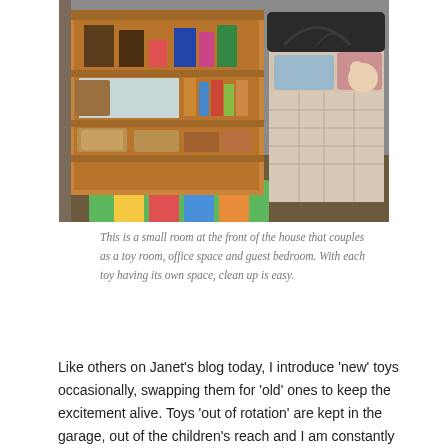[Figure (photo): A small room with a wooden bookshelf unit filled with baskets and toys, and a bed with a patterned quilt and decorative headboard. A colorful mat is on the floor.]
This is a small room at the front of the house that couples as a toy room, office space and guest bedroom. With each toy having its own space, clean up is easy.
Like others on Janet's blog today, I introduce 'new' toys occasionally, swapping them for 'old' ones to keep the excitement alive. Toys 'out of rotation' are kept in the garage, out of the children's reach and I am constantly amazed each time I reintroduce an 'old' toy at how the children react to it differently and find new ways to use it. I guess they have